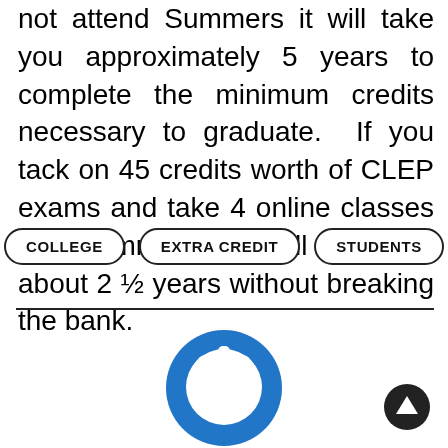not attend Summers it will take you approximately 5 years to complete the minimum credits necessary to graduate. If you tack on 45 credits worth of CLEP exams and take 4 online classes per Summer you will finish in about 2 ½ years without breaking the bank.
COLLEGE
EXTRA CREDIT
STUDENTS
[Figure (logo): Blue circular power button icon — a bold blue ring with a white power symbol in the center.]